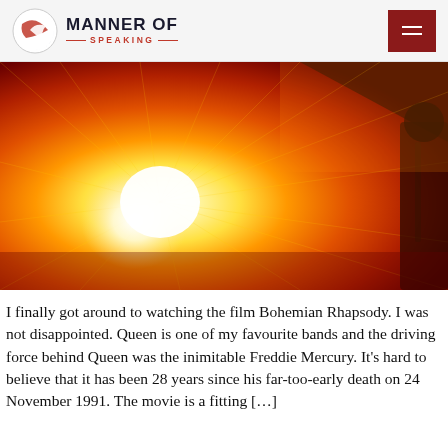MANNER OF SPEAKING
[Figure (photo): Bohemian Rhapsody film promotional image — bright starburst of white-yellow light radiating outward against a deep orange-red background, with a silhouetted figure visible at the right edge]
I finally got around to watching the film Bohemian Rhapsody. I was not disappointed. Queen is one of my favourite bands and the driving force behind Queen was the inimitable Freddie Mercury. It's hard to believe that it has been 28 years since his far-too-early death on 24 November 1991. The movie is a fitting […]